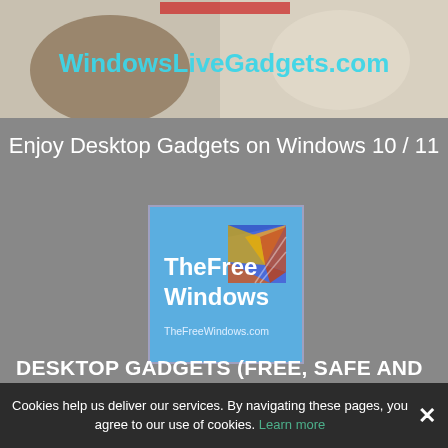[Figure (screenshot): Top banner image showing coconut/food items with 'WindowsLiveGadgets.com' text overlay in cyan color]
Enjoy Desktop Gadgets on Windows 10 / 11
[Figure (logo): TheFreeWindows logo on blue background with colorful Windows-style geometric shapes and text 'TheFreeWindows.com']
DESKTOP GADGETS (FREE, SAFE AND
Cookies help us deliver our services. By navigating these pages, you agree to our use of cookies. Learn more